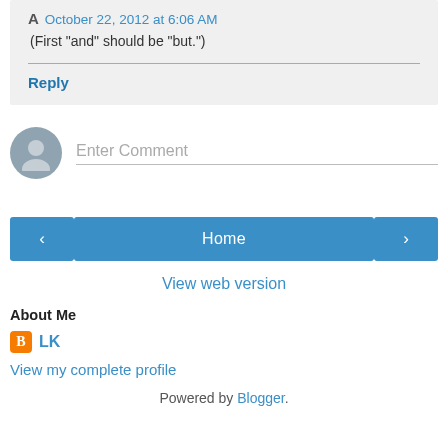A  October 22, 2012 at 6:06 AM
(First "and" should be "but.")
Reply
Enter Comment
Home
View web version
About Me
LK
View my complete profile
Powered by Blogger.